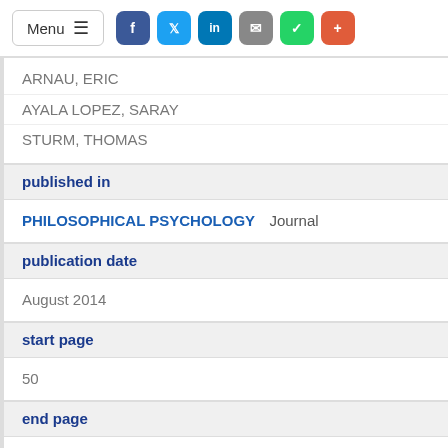Menu | social share icons (Facebook, Twitter, LinkedIn, Email, WhatsApp, +)
ARNAU, ERIC
AYALA LOPEZ, SARAY
STURM, THOMAS
published in
PHILOSOPHICAL PSYCHOLOGY  Journal
publication date
August 2014
start page
50
end page
64
issue